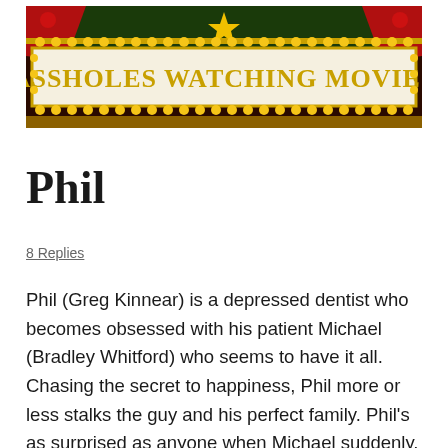[Figure (logo): Assholes Watching Movies banner logo — a movie marquee sign with red and gold decoration, light bulbs around the border, and the text 'ASSHOLES WATCHING MOVIES' in large gold letters on a cream background, with stars and red curtain-like elements at the top.]
Phil
8 Replies
Phil (Greg Kinnear) is a depressed dentist who becomes obsessed with his patient Michael (Bradley Whitford) who seems to have it all. Chasing the secret to happiness, Phil more or less stalks the guy and his perfect family. Phil's as surprised as anyone when Michael suddenly, and seemingly inexplicably, commits suicide. If the guy who has everything